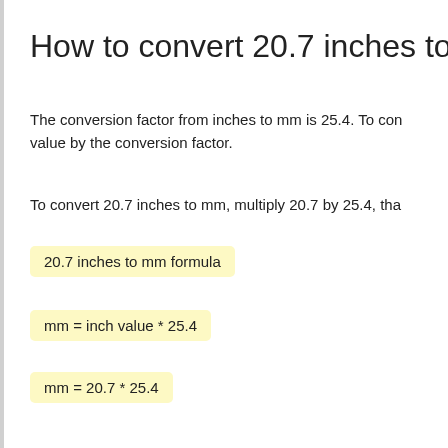How to convert 20.7 inches to mm?
The conversion factor from inches to mm is 25.4. To convert value by the conversion factor.
To convert 20.7 inches to mm, multiply 20.7 by 25.4, tha
20.7 inches to mm formula